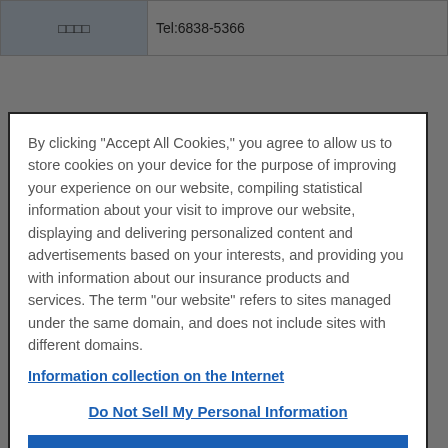|  |  |
| --- | --- |
| □□□□ | Tel:6838-5366 |
By clicking "Accept All Cookies," you agree to allow us to store cookies on your device for the purpose of improving your experience on our website, compiling statistical information about your visit to improve our website, displaying and delivering personalized content and advertisements based on your interests, and providing you with information about our insurance products and services. The term "our website" refers to sites managed under the same domain, and does not include sites with different domains.
Information collection on the Internet
Do Not Sell My Personal Information
Reject All
Accept All Cookies